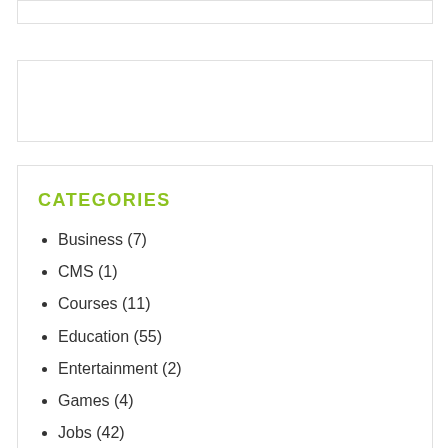CATEGORIES
Business (7)
CMS (1)
Courses (11)
Education (55)
Entertainment (2)
Games (4)
Jobs (42)
Mobile (4)
News (12)